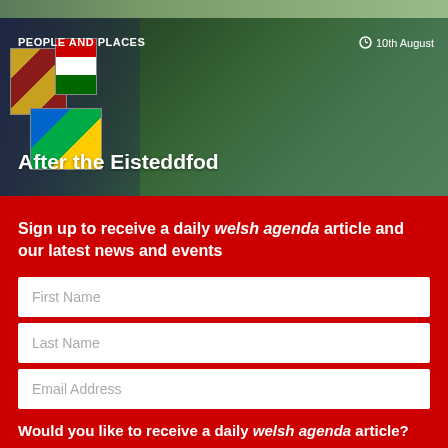[Figure (photo): Partial top strip of image, cropped]
[Figure (photo): Article card image showing flags and trees with overlay text: PEOPLE AND PLACES category, 10th August date, and headline 'After the Eisteddfod']
Sign up to receive a daily welsh agenda article and our latest news and events
First Name
Last Name
Email Address
Would you like to receive a daily welsh agenda article?
No  Yes